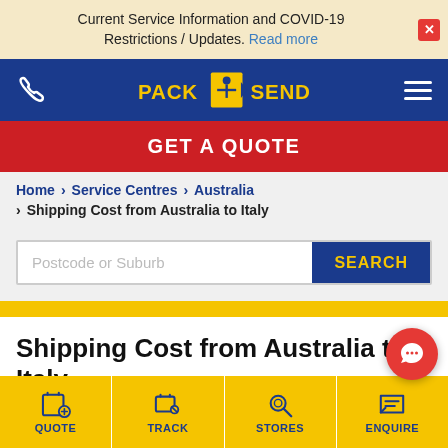Current Service Information and COVID-19 Restrictions / Updates. Read more
[Figure (logo): PACK & SEND logo on blue navigation header bar with phone icon and hamburger menu]
GET A QUOTE
Home > Service Centres > Australia > Shipping Cost from Australia to Italy
Postcode or Suburb
SEARCH
Shipping Cost from Australia to Italy
[Figure (screenshot): Bottom navigation bar with QUOTE, TRACK, STORES, ENQUIRE icons on yellow background]